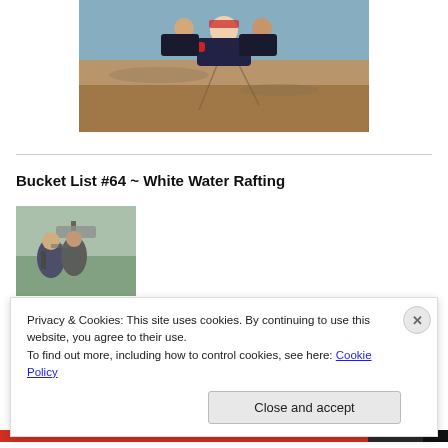[Figure (photo): Two skydivers in freefall over a brown landscape, wearing dark jumpsuits, one person in the middle facing the camera smiling]
Bucket List #64 ~ White Water Rafting
[Figure (photo): Two people posing next to a trail sign on a hiking trail with trees in the background]
Privacy & Cookies: This site uses cookies. By continuing to use this website, you agree to their use.
To find out more, including how to control cookies, see here: Cookie Policy
Close and accept